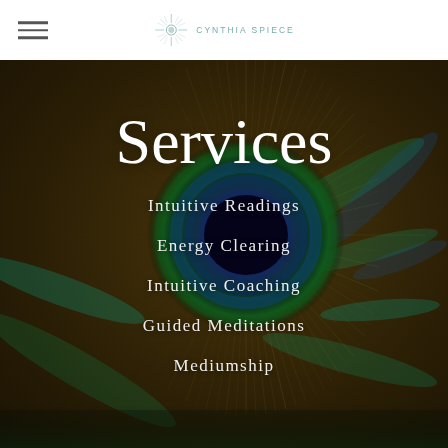CYNTHIA SPIECE
[Figure (photo): Close-up macro photograph of a peacock feather showing the eye pattern with iridescent blue-green and purple tones surrounded by radiating brown and green barbs]
Services
Intuitive Readings
Energy Clearing
Intuitive Coaching
Guided Meditations
Mediumship